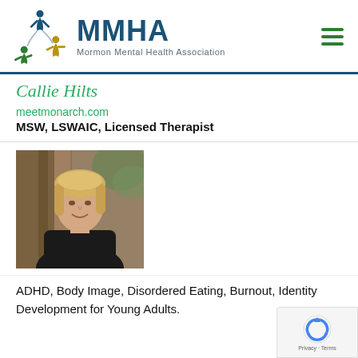[Figure (logo): MMHA Mormon Mental Health Association logo with colorful figures and blue/green text]
Callie Hilts
meetmonarch.com
MSW, LSWAIC, Licensed Therapist
[Figure (photo): Professional headshot of Callie Hilts, a woman with blonde hair wearing a black outfit, photographed outdoors near trees]
ADHD, Body Image, Disordered Eating, Burnout, Identity Development for Young Adults.